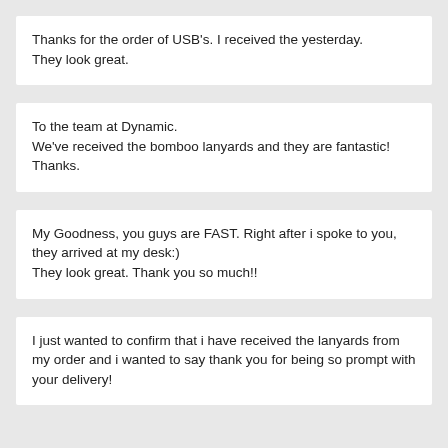Thanks for the order of USB's. I received the yesterday. They look great.
To the team at Dynamic.
We've received the bomboo lanyards and they are fantastic!
Thanks.
My Goodness, you guys are FAST. Right after i spoke to you, they arrived at my desk:)
They look great. Thank you so much!!
I just wanted to confirm that i have received the lanyards from my order and i wanted to say thank you for being so prompt with your delivery!